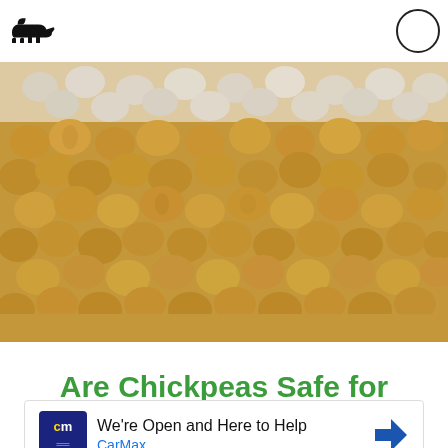[Figure (photo): Close-up photo of golden-brown chickpeas/garbanzo beans piled together, filling the frame, with rounded bean shapes visible throughout]
Are Chickpeas Safe for
[Figure (other): Advertisement: CarMax - We're Open and Here to Help, with CarMax logo (cm in blue square) and a navigation arrow icon]